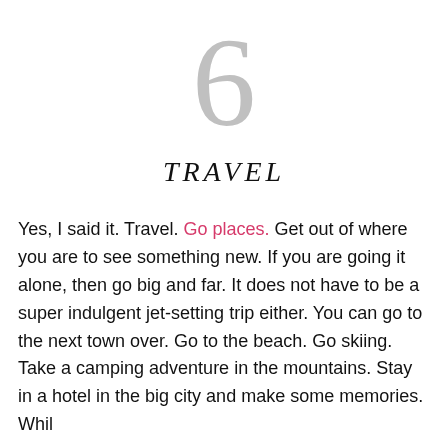6
TRAVEL
Yes, I said it. Travel. Go places. Get out of where you are to see something new. If you are going it alone, then go big and far. It does not have to be a super indulgent jet-setting trip either. You can go to the next town over. Go to the beach. Go skiing. Take a camping adventure in the mountains. Stay in a hotel in the big city and make some memories. Whil...